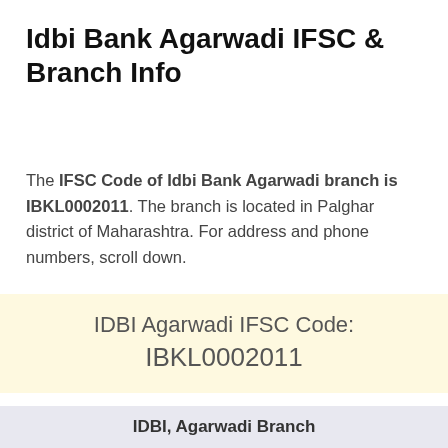Idbi Bank Agarwadi IFSC & Branch Info
The IFSC Code of Idbi Bank Agarwadi branch is IBKL0002011. The branch is located in Palghar district of Maharashtra. For address and phone numbers, scroll down.
IDBI Agarwadi IFSC Code: IBKL0002011
IDBI, Agarwadi Branch